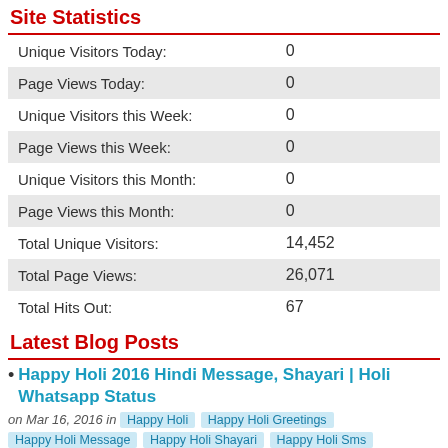Site Statistics
| Unique Visitors Today: | 0 |
| Page Views Today: | 0 |
| Unique Visitors this Week: | 0 |
| Page Views this Week: | 0 |
| Unique Visitors this Month: | 0 |
| Page Views this Month: | 0 |
| Total Unique Visitors: | 14,452 |
| Total Page Views: | 26,071 |
| Total Hits Out: | 67 |
Latest Blog Posts
Happy Holi 2016 Hindi Message, Shayari | Holi Whatsapp Status
on Mar 16, 2016 in  Happy Holi  Happy Holi Greetings  Happy Holi Message  Happy Holi Shayari  Happy Holi Sms  Happy Holi Whatsapp Status  Happy Holi Wishes
Check this ultimate collection of Happy Holi Hindi Message, Holi Shayari and Holi Whatsapp Status in Hindi. Holi has a special significance in Indian festival culture. It has been made trend to wish everyone on the occasion of Holi.Happy Holi 2016 Hi...